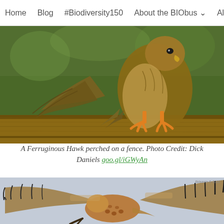Home  Blog  #Biodiversity150  About the BIObus  A...
[Figure (photo): A Ferruginous Hawk perched on a wooden fence post, viewed from the front, showing brown and white speckled plumage, orange talons, against a green background.]
A Ferruginous Hawk perched on a fence. Photo Credit: Dick Daniels goo.gl/iGWyAn
[Figure (photo): A Ferruginous Hawk in flight with wings spread wide, showing brown and white plumage with spotted markings, against a pale blue-grey sky background.]